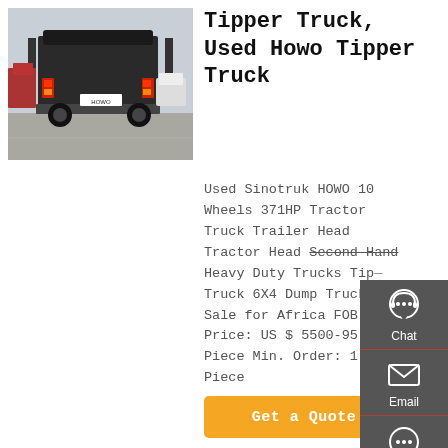[Figure (photo): Rear view of a HOWO tipper/dump truck in a parking lot area, with other vehicles visible in background.]
Tipper Truck, Used Howo Tipper Truck
Used Sinotruk HOWO 10 Wheels 371HP Tractor Truck Trailer Head Tractor Head Second Hand Heavy Duty Trucks Tipper Truck 6X4 Dump Truck Hot Sale for Africa FOB Price: US $ 5500-95 Piece Min. Order: 1 Piece
[Figure (infographic): Sidebar with Chat, Email, Contact, and Top navigation icons on dark grey background.]
Get a Quote